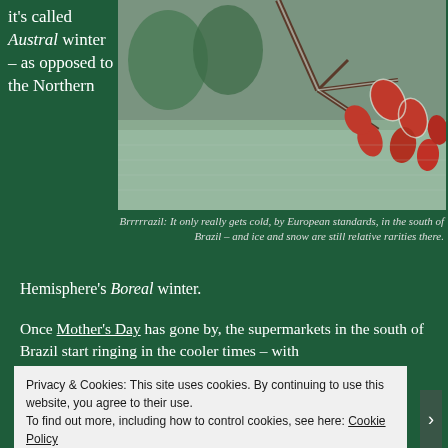it's called Austral winter – as opposed to the Northern
[Figure (photo): Frost-covered branch with red leaves over a frost-coated ground in the south of Brazil]
Brrrrrazil: It only really gets cold, by European standards, in the south of Brazil – and ice and snow are still relative rarities there.
Hemisphere's Boreal winter.
Once Mother's Day has gone by, the supermarkets in the south of Brazil start ringing in the cooler times – with
Privacy & Cookies: This site uses cookies. By continuing to use this website, you agree to their use.
To find out more, including how to control cookies, see here: Cookie Policy
Close and accept